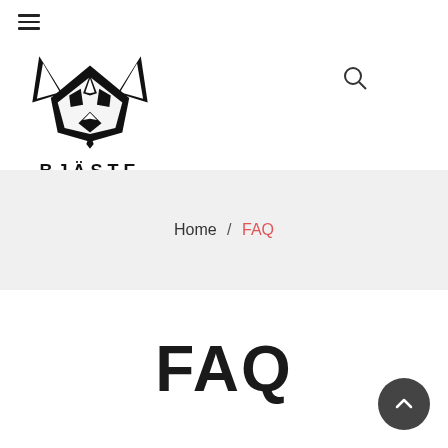BJÄSTE — Navigation header with hamburger menu, logo, and search icon
Home / FAQ
FAQ